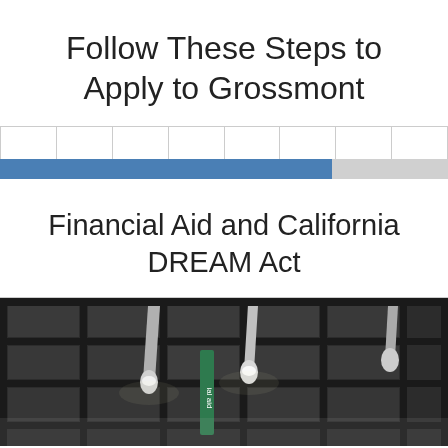Follow These Steps to Apply to Grossmont
[Figure (infographic): Progress bar with 8 steps divided by vertical lines, with approximately 6 out of 8 steps filled in blue and the remainder in gray.]
Financial Aid and California DREAM Act
[Figure (photo): Interior ceiling photo of a building showing geometric grid ceiling with hanging pendant lights and a green sign reading 'financial aid'.]